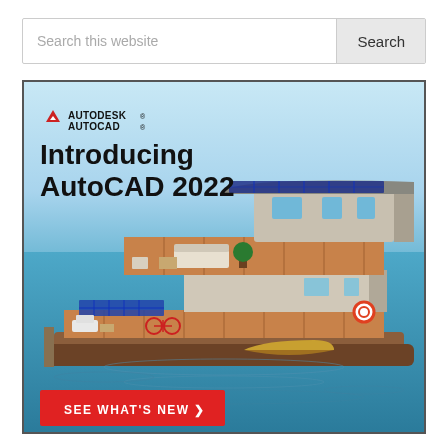Search this website
Search
[Figure (illustration): Autodesk AutoCAD 2022 advertisement banner showing a 3D rendered houseboat on water with solar panels, outdoor furniture, and a small rowboat docked alongside. Features Autodesk AutoCAD logo, headline 'Introducing AutoCAD 2022', and a red CTA button 'SEE WHAT'S NEW >']